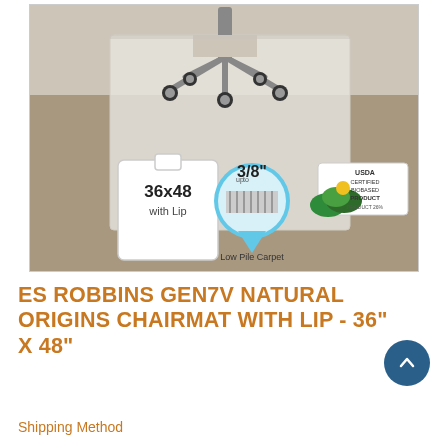[Figure (photo): Product photo of ES Robbins Gen7V Natural Origins chairmat on carpet. Shows a clear plastic chair mat on tan/beige carpet with a rolling office chair on top. In the lower portion of the image are three informational badges: a white shape badge reading '36x48 with Lip', a blue circular badge reading 'up to 3/8" Low Pile Carpet', and a white badge reading 'USDA Certified Biobased Product, Product 26%'.]
ES ROBBINS GEN7V NATURAL ORIGINS CHAIRMAT WITH LIP - 36" X 48"
Shipping Method